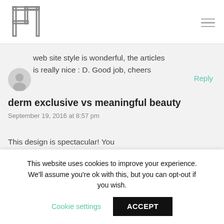Logo and navigation menu
web site style is wonderful, the articles
is really nice : D. Good job, cheers
Reply
derm exclusive vs meaningful beauty
September 19, 2016 at 8:57 pm
This design is spectacular! You
This website uses cookies to improve your experience. We'll assume you're ok with this, but you can opt-out if you wish. Cookie settings ACCEPT